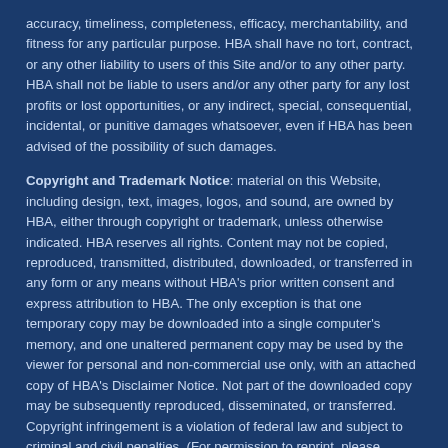accuracy, timeliness, completeness, efficacy, merchantability, and fitness for any particular purpose. HBA shall have no tort, contract, or any other liability to users of this Site and/or to any other party. HBA shall not be liable to users and/or any other party for any lost profits or lost opportunities, or any indirect, special, consequential, incidental, or punitive damages whatsoever, even if HBA has been advised of the possibility of such damages.
Copyright and Trademark Notice: material on this Website, including design, text, images, logos, and sound, are owned by HBA, either through copyright or trademark, unless otherwise indicated. HBA reserves all rights. Content may not be copied, reproduced, transmitted, distributed, downloaded, or transferred in any form or any means without HBA's prior written consent and express attribution to HBA. The only exception is that one temporary copy may be downloaded into a single computer's memory, and one unaltered permanent copy may be used by the viewer for personal and non-commercial use only, with an attached copy of HBA's Disclaimer Notice. Not part of the downloaded copy may be subsequently reproduced, disseminated, or transferred. Copyright infringement is a violation of federal law and subject to criminal and civil penalties. (For permission to reprint, please contact HBA at 513-589-3214 or kpfeiffer@cincybuilders.com)